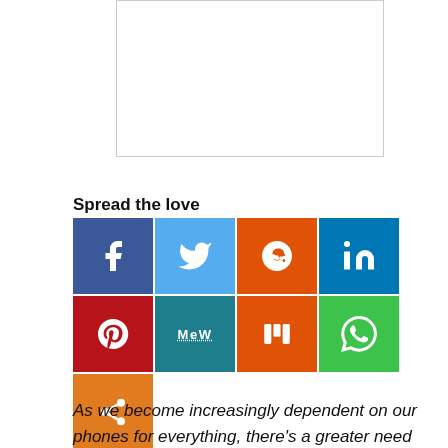[Figure (other): Advertisement placeholder box (empty white rectangle with border)]
Spread the love
[Figure (infographic): Social media share buttons grid: Facebook (dark blue), Twitter (light blue), Reddit (orange-red), LinkedIn (dark blue), Pinterest (red), MeWe (teal), Mix (orange), WhatsApp (green), Share (orange)]
As we become increasingly dependent on our phones for everything, there's a greater need for data that your mobile provider or carrier is willing to buy. So…